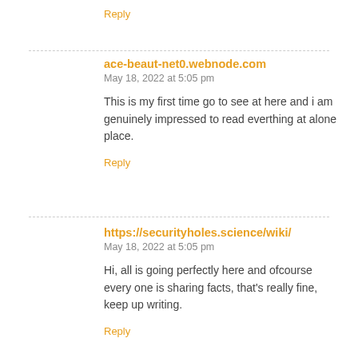Reply
ace-beaut-net0.webnode.com
May 18, 2022 at 5:05 pm
This is my first time go to see at here and i am genuinely impressed to read everthing at alone place.
Reply
https://securityholes.science/wiki/
May 18, 2022 at 5:05 pm
Hi, all is going perfectly here and ofcourse every one is sharing facts, that's really fine, keep up writing.
Reply